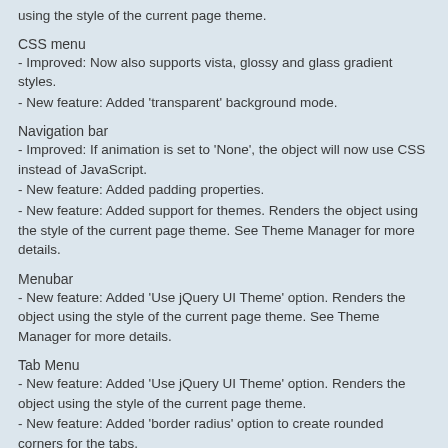using the style of the current page theme.
CSS menu
- Improved: Now also supports vista, glossy and glass gradient styles.
- New feature: Added 'transparent' background mode.
Navigation bar
- Improved: If animation is set to 'None', the object will now use CSS instead of JavaScript.
- New feature: Added padding properties.
- New feature: Added support for themes. Renders the object using the style of the current page theme. See Theme Manager for more details.
Menubar
- New feature: Added 'Use jQuery UI Theme' option. Renders the object using the style of the current page theme. See Theme Manager for more details.
Tab Menu
- New feature: Added 'Use jQuery UI Theme' option. Renders the object using the style of the current page theme.
- New feature: Added 'border radius' option to create rounded corners for the tabs.
- New feature: Added 'spacing' option.
- New feature: Added 'padding' option.